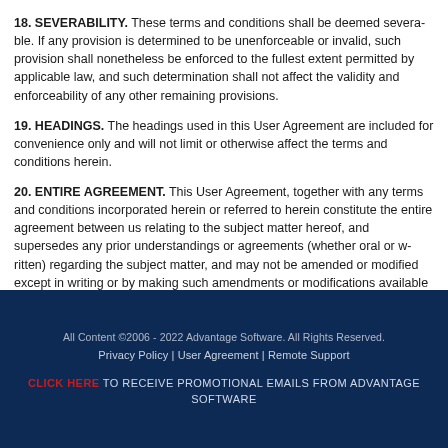18. SEVERABILITY. These terms and conditions shall be deemed severable. If any provision is determined to be unenforceable or invalid, such provision shall nonetheless be enforced to the fullest extent permitted by applicable law, and such determination shall not affect the validity and enforceability of any other remaining provisions.
19. HEADINGS. The headings used in this User Agreement are included for convenience only and will not limit or otherwise affect the terms and conditions herein.
20. ENTIRE AGREEMENT. This User Agreement, together with any terms and conditions incorporated herein or referred to herein constitute the entire agreement between us relating to the subject matter hereof, and supersedes any prior understandings or agreements (whether oral or written) regarding the subject matter, and may not be amended or modified except in writing or by making such amendments or modifications available on this site.
All Content ©2006 - 2022 Advantage Software. All Rights Reserved. | Privacy Policy | User Agreement | Remote Support | CLICK HERE TO RECEIVE PROMOTIONAL EMAILS FROM ADVANTAGE SOFTWARE